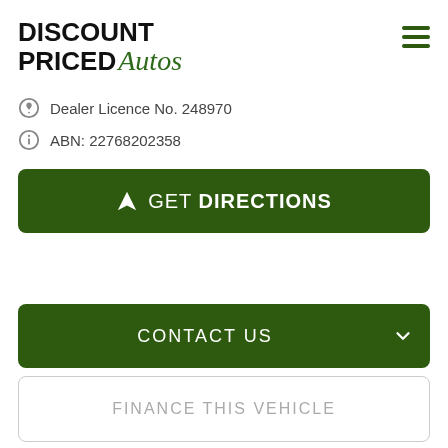[Figure (logo): Discount Priced Autos logo with black bold text 'DISCOUNT PRICED' and green italic script 'Autos']
Dealer Licence No. 248970
ABN: 22768202358
GET DIRECTIONS
CONTACT US
FINANCE THIS VEHICLE